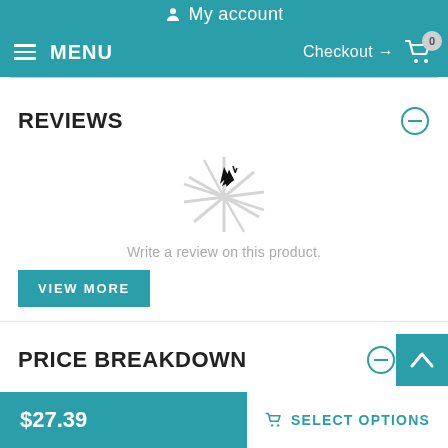My account
MENU  Checkout → 0
REVIEWS
[Figure (illustration): Star burst / sparkle icon indicating no reviews]
Write a review on this product.
VIEW MORE
PRICE BREAKDOWN
$27.39  SELECT OPTIONS